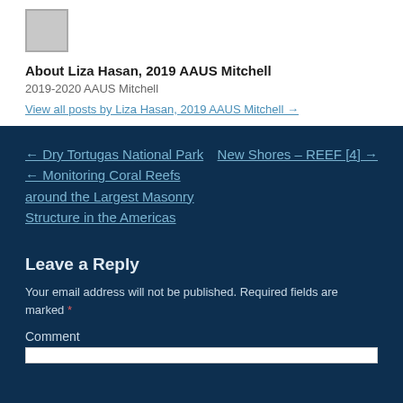[Figure (illustration): Small avatar/profile image placeholder, grey box with silhouette]
About Liza Hasan, 2019 AAUS Mitchell
2019-2020 AAUS Mitchell
View all posts by Liza Hasan, 2019 AAUS Mitchell →
← Dry Tortugas National Park ← Monitoring Coral Reefs around the Largest Masonry Structure in the Americas
New Shores – REEF [4] →
Leave a Reply
Your email address will not be published. Required fields are marked *
Comment